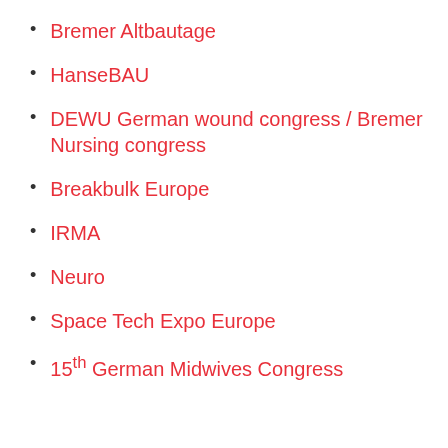Bremer Altbautage
HanseBAU
DEWU German wound congress / Bremer Nursing congress
Breakbulk Europe
IRMA
Neuro
Space Tech Expo Europe
15th German Midwives Congress